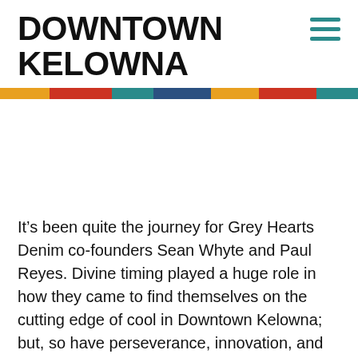DOWNTOWN KELOWNA
[Figure (logo): Hamburger menu icon — three horizontal teal bars]
[Figure (infographic): Horizontal color bar with segments: orange, red, teal, dark blue, orange, red, teal, dark blue]
It’s been quite the journey for Grey Hearts Denim co-founders Sean Whyte and Paul Reyes. Divine timing played a huge role in how they came to find themselves on the cutting edge of cool in Downtown Kelowna; but, so have perseverance, innovation, and keen awareness of community. Sean and Paul met each other years ago […]